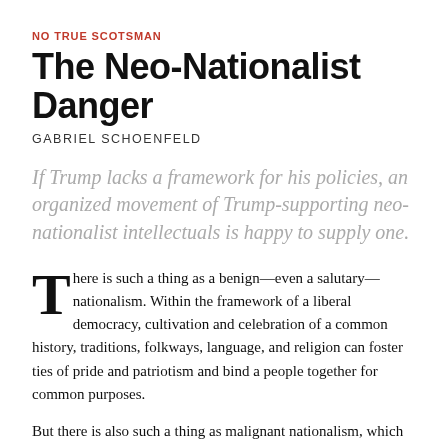NO TRUE SCOTSMAN
The Neo-Nationalist Danger
GABRIEL SCHOENFELD
If Trump lacks a framework for his policies, an organized movement of Trump-supporting neo-nationalist intellectuals is happy to supply one.
There is such a thing as a benign—even a salutary—nationalism. Within the framework of a liberal democracy, cultivation and celebration of a common history, traditions, folkways, language, and religion can foster ties of pride and patriotism and bind a people together for common purposes.
But there is also such a thing as malignant nationalism, which easily metastasizes into fascism. Its hallmarks are the celebration of racial unity, the glorification of